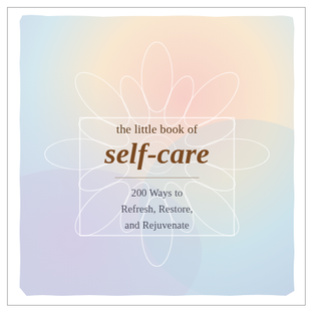[Figure (illustration): Book cover with pastel gradient background (light blue, peach/pink, lavender) and a white lotus mandala outline. A white rectangular border frames the center text area. The cover shows the title 'the little book of self-care' and subtitle '200 Ways to Refresh, Restore, and Rejuvenate'.]
the little book of self-care
200 Ways to Refresh, Restore, and Rejuvenate